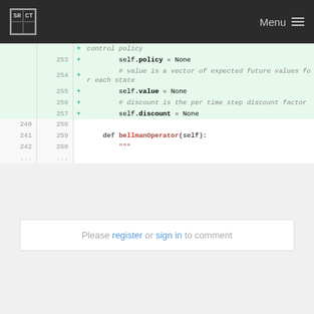SRCT Menu
[Figure (screenshot): Code diff viewer showing Python code lines 253-260 and 240-242, with added lines (green background) showing self.policy, self.value, self.discount assignments and comments, plus def bellmanOperator method]
Please register or sign in to comment